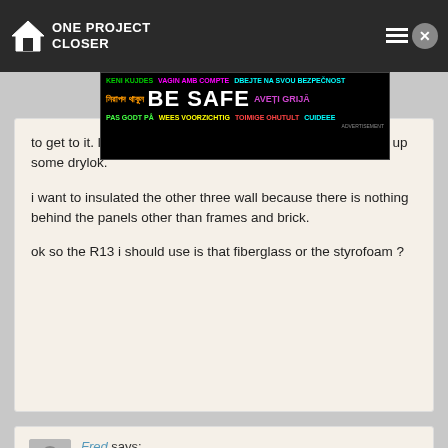ONE PROJECT CLOSER
[Figure (screenshot): Safety advertisement banner with multilingual text: KENI KUJDES, VAGIN AMB COMPTE, DBEJTE NA SVOU BEZPECNOST, BE SAFE, AVETI GRIJA, PAS GODT PA, WEES VOORZICHTIG, TOIMIGE OHUTULT]
to get to it. last week I took the paneling off that wall and put up some drylok.
i want to insulated the other three wall because there is nothing behind the panels other than frames and brick.
ok so the R13 i should use is that fiberglass or the styrofoam ?
Fred says:
September 26, 2008 at 11:43 pm

Krystal, either will be fine to use…